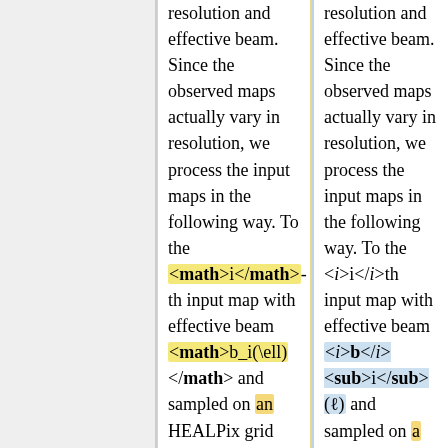resolution and effective beam. Since the observed maps actually vary in resolution, we process the input maps in the following way. To the <math>i</math>-th input map with effective beam <math>b_i(\ell)</math> and sampled on an HEALPix grid with <math>N^i_{side}</math>, the CMB sky multipole
resolution and effective beam. Since the observed maps actually vary in resolution, we process the input maps in the following way. To the <i>i</i>th input map with effective beam <i><b>b</b></i><sub>i</sub>(&#8467;) and sampled on a HEALPix grid with <i>N</i><sup>i</sup><sub>side</sub>, the CMB sky multipole